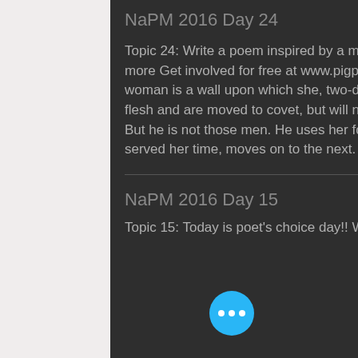NaPM 2016 Day 24
Topic 24: Write a poem inspired by a movie Form : any Line requirements: 8 lines or more Get involved for free at www.pigpenpoetry.com No Redemption Behind the woman is a wall upon which she, two-dimensional, must abide in silence. Men see flesh and are moved to covet, but will not challenge he who already possesses her. But he is not those men. He uses her for misdirection, discards her when she has served her time, moves on to the next. Gradually, the wall and
NaPM 2016 Day 15
Topic 15: Today is poet's choice day!! Write a poem inspired by whatever inspires